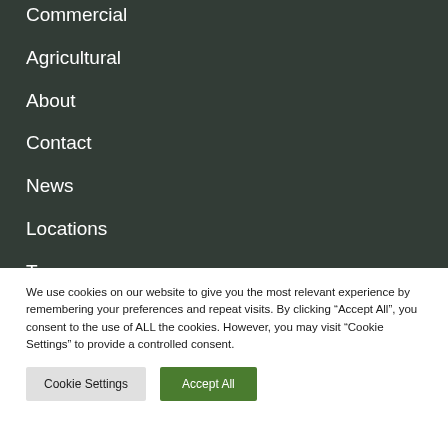Commercial
Agricultural
About
Contact
News
Locations
Terms
Facebook
We use cookies on our website to give you the most relevant experience by remembering your preferences and repeat visits. By clicking “Accept All”, you consent to the use of ALL the cookies. However, you may visit "Cookie Settings" to provide a controlled consent.
Cookie Settings | Accept All